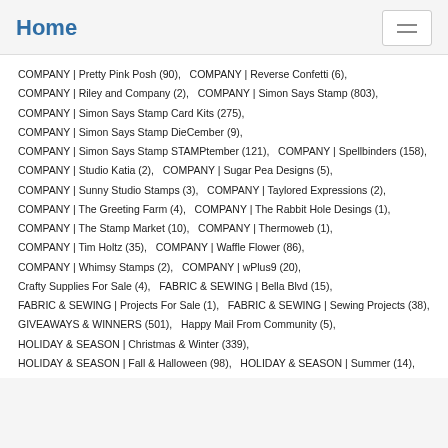Home
COMPANY | Pretty Pink Posh (90),   COMPANY | Reverse Confetti (6),
COMPANY | Riley and Company (2),   COMPANY | Simon Says Stamp (803),
COMPANY | Simon Says Stamp Card Kits (275),
COMPANY | Simon Says Stamp DieCember (9),
COMPANY | Simon Says Stamp STAMPtember (121),   COMPANY | Spellbinders (158),
COMPANY | Studio Katia (2),   COMPANY | Sugar Pea Designs (5),
COMPANY | Sunny Studio Stamps (3),   COMPANY | Taylored Expressions (2),
COMPANY | The Greeting Farm (4),   COMPANY | The Rabbit Hole Desings (1),
COMPANY | The Stamp Market (10),   COMPANY | Thermoweb (1),
COMPANY | Tim Holtz (35),   COMPANY | Waffle Flower (86),
COMPANY | Whimsy Stamps (2),   COMPANY | wPlus9 (20),
Crafty Supplies For Sale (4),   FABRIC & SEWING | Bella Blvd (15),
FABRIC & SEWING | Projects For Sale (1),   FABRIC & SEWING | Sewing Projects (38),
GIVEAWAYS & WINNERS (501),   Happy Mail From Community (5),
HOLIDAY & SEASON | Christmas & Winter (339),
HOLIDAY & SEASON | Fall & Halloween (98),   HOLIDAY & SEASON | Summer (14),